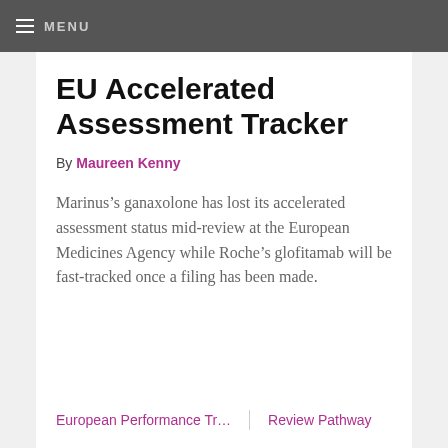MENU
EU Accelerated Assessment Tracker
By Maureen Kenny
Marinus’s ganaxolone has lost its accelerated assessment status mid-review at the European Medicines Agency while Roche’s glofitamab will be fast-tracked once a filing has been made.
European Performance Tr... | Review Pathway